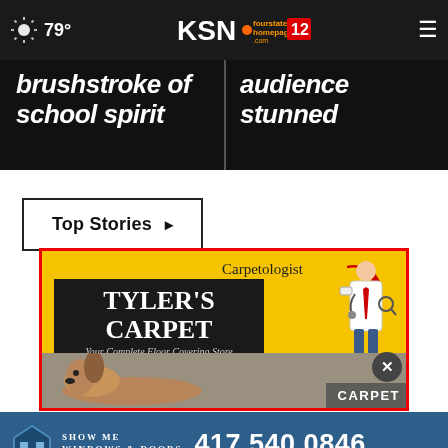79° KSN fourstates homepage .com 12
brushstroke of school spirit
audience stunned
Top Stories ▶
[Figure (illustration): Tyler's Carpet advertisement: yellow background with red border, sign reading TYLER'S CARPET Your Complete Floor Covering Store, a Carpetologist doctor figure on right, dog photo strip below with CARPET label]
[Figure (illustration): Show Me Windows & Doors advertisement: blue background, building icon, text SHOW ME WINDOWS & DOORS, phone number 417.540.0846]